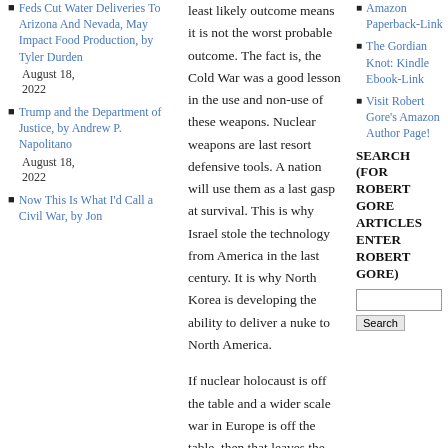Feds Cut Water Deliveries To Arizona And Nevada, May Impact Food Production, by Tyler Durden
August 18, 2022
Trump and the Department of Justice, by Andrew P. Napolitano
August 18, 2022
Now This Is What I'd Call a Civil War, by Jon
least likely outcome means it is not the worst probable outcome. The fact is, the Cold War was a good lesson in the use and non-use of these weapons. Nuclear weapons are last resort defensive tools. A nation will use them as a last gasp at survival. This is why Israel stole the technology from America in the last century. It is why North Korea is developing the ability to deliver a nuke to North America.

If nuclear holocaust is off the table and a wider scale war in Europe is off the table, then that leaves the softer, less predictable outcomes. We are already seeing big ripples in the financial markets as people try to figure out the best...
Amazon Paperback-Link
The Gordian Knot: Kindle Ebook-Link
Visit Robert Gore's Amazon Author Page!
SEARCH (FOR ROBERT GORE ARTICLES ENTER ROBERT GORE)